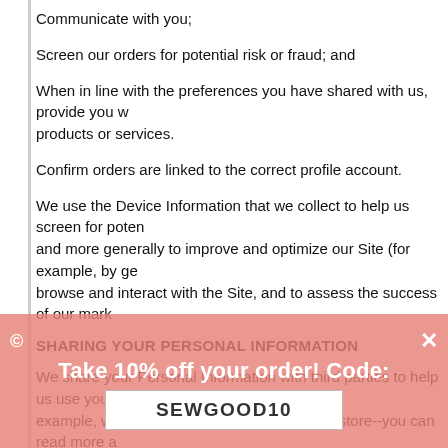Communicate with you;
Screen our orders for potential risk or fraud; and
When in line with the preferences you have shared with us, provide you with products or services.
Confirm orders are linked to the correct profile account.
We use the Device Information that we collect to help us screen for potential risk and more generally to improve and optimize our Site (for example, by generating how customers browse and interact with the Site, and to assess the success of our marketing campaigns).
SHARING YOUR PERSONAL INFORMATION
We share your Personal Information with third parties to help us use your Personal Information, as described above. For example, we use Shopify to power our online store--you can read more about how Shopify uses your Personal Information here: https://www.shopify.com/legal/privacy. We use The Ning Platform for more info at: https://www.ning.com/privacy/ We also use Google Analytics to help us understand how customers use the Site--you can read more about how Google uses your Personal Information here: https://www.google.com/intl/en/policies/privacy/. You can also opt-out of Google Analytics here: https://tools.google.com/dlpage/gaoptout. We use Janrain Engage that provides https://hatacademy.networkatth.com/
Finally, we may also share your Personal Information to comply with app
Take 10% off your order! Code: SEWGOOD10